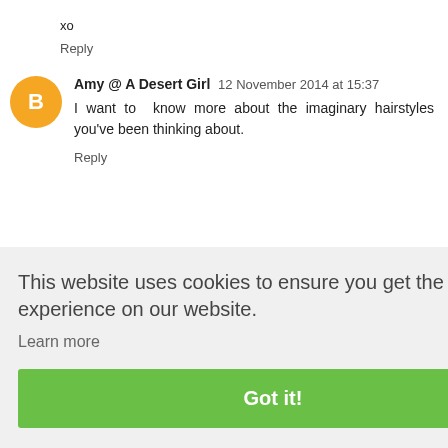xo
Reply
Amy @ A Desert Girl  12 November 2014 at 15:37
I want to know more about the imaginary hairstyles you've been thinking about.
Reply
This website uses cookies to ensure you get the best experience on our website.
Learn more
Got it!
l have to o write: r joy. Life And what ray from ls, learn eet some ast year, I
don't know where I would be or what I would be doing